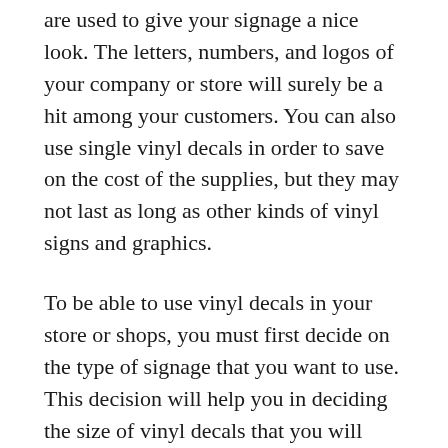are used to give your signage a nice look. The letters, numbers, and logos of your company or store will surely be a hit among your customers. You can also use single vinyl decals in order to save on the cost of the supplies, but they may not last as long as other kinds of vinyl signs and graphics.
To be able to use vinyl decals in your store or shops, you must first decide on the type of signage that you want to use. This decision will help you in deciding the size of vinyl decals that you will need to place in your store or shops. Then, you must be sure that you already have all the pieces of vinyl decals that you need and place them in a proper arrangement to be